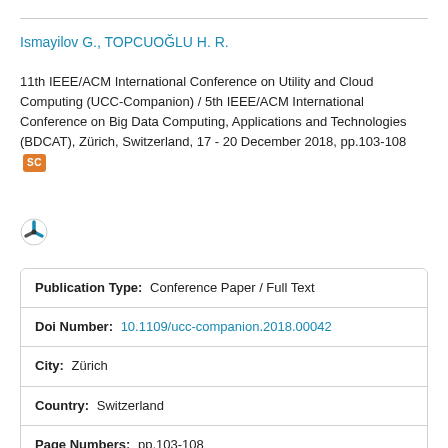Ismayilov G., TOPCUOĞLU H. R.
11th IEEE/ACM International Conference on Utility and Cloud Computing (UCC-Companion) / 5th IEEE/ACM International Conference on Big Data Computing, Applications and Technologies (BDCAT), Zürich, Switzerland, 17 - 20 December 2018, pp.103-108
[Figure (logo): Semantic Scholar logo icon]
| Publication Type: | Conference Paper / Full Text |
| Doi Number: | 10.1109/ucc-companion.2018.00042 |
| City: | Zürich |
| Country: | Switzerland |
| Page Numbers: | pp.103-108 |